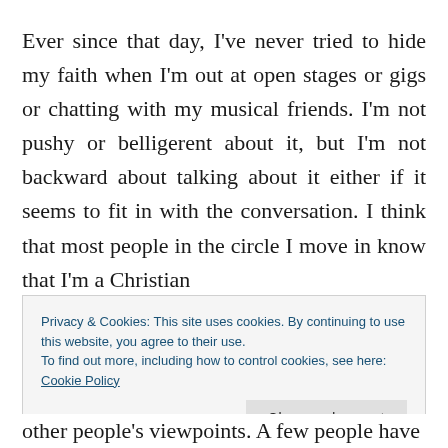Ever since that day, I've never tried to hide my faith when I'm out at open stages or gigs or chatting with my musical friends. I'm not pushy or belligerent about it, but I'm not backward about talking about it either if it seems to fit in with the conversation. I think that most people in the circle I move in know that I'm a Christian
Privacy & Cookies: This site uses cookies. By continuing to use this website, you agree to their use. To find out more, including how to control cookies, see here: Cookie Policy
other people's viewpoints. A few people have